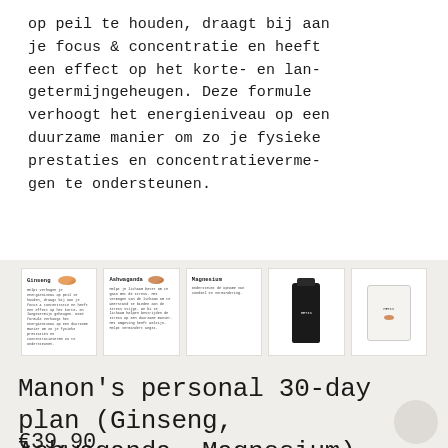op peil te houden, draagt bij aan je focus & concentratie en heeft een effect op het korte- en langetermijngeheugen. Deze formule verhoogt het energieniveau op een duurzame manier om zo je fysieke prestaties en concentratievermogen te ondersteunen.
[Figure (photo): Row of five product thumbnail cards: Ginseng (with pill), Ashwaganda (with pill), Magnesium (text only), product bottle (dark), and product packet with pill.]
Manon's personal 30-day plan (Ginseng, Ashwaganda, Magnesium)
€39,90